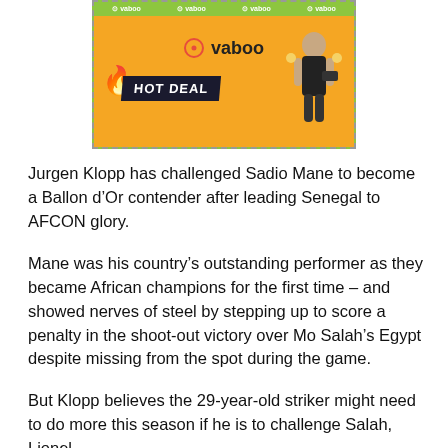[Figure (illustration): Vaboo advertisement banner with yellow/green background, HOT DEAL text, fire graphic, and a woman looking at a phone]
Jurgen Klopp has challenged Sadio Mane to become a Ballon d’Or contender after leading Senegal to AFCON glory.
Mane was his country’s outstanding performer as they became African champions for the first time – and showed nerves of steel by stepping up to score a penalty in the shoot-out victory over Mo Salah’s Egypt despite missing from the spot during the game.
But Klopp believes the 29-year-old striker might need to do more this season if he is to challenge Salah, Lionel